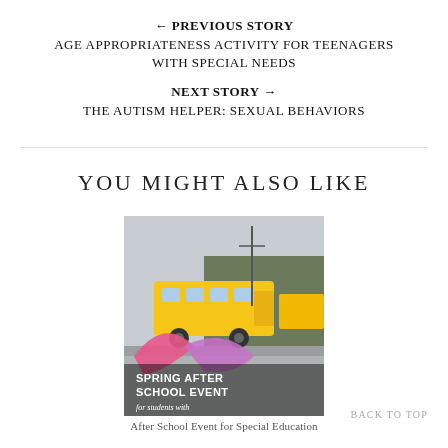← PREVIOUS STORY
AGE APPROPRIATENESS ACTIVITY FOR TEENAGERS WITH SPECIAL NEEDS
NEXT STORY →
THE AUTISM HELPER: SEXUAL BEHAVIORS
YOU MIGHT ALSO LIKE
[Figure (photo): Photo of a yellow school bus on a street with a person in the foreground holding pink and purple ribbons/flags, overlaid with text 'SPRING AFTER SCHOOL EVENT for students with']
After School Event for Special Education
BACK TO TOP